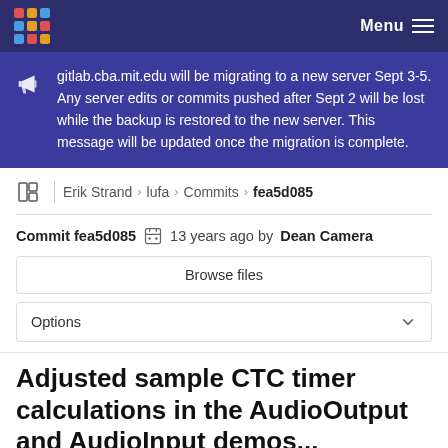Menu
gitlab.cba.mit.edu will be migrating to a new server Sept 3-5. Any server edits or commits pushed after Sept 2 will be lost while the backup is restored to the new server. This message will be updated once the migration is complete.
Erik Strand › lufa › Commits › fea5d085
Commit fea5d085  13 years ago by Dean Camera
Browse files
Options
Adjusted sample CTC timer calculations in the AudioOutput and AudioInput demos...